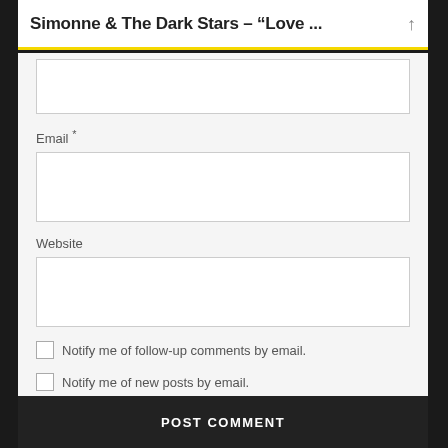Simonne & The Dark Stars – “Love ...”
Email *
Website
Notify me of follow-up comments by email.
Notify me of new posts by email.
POST COMMENT